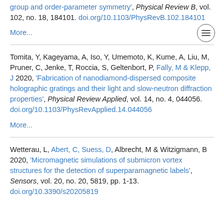group and order-parameter symmetry', Physical Review B, vol. 102, no. 18, 184101. doi.org/10.1103/PhysRevB.102.184101
More...
Tomita, Y, Kageyama, A, Iso, Y, Umemoto, K, Kume, A, Liu, M, Pruner, C, Jenke, T, Roccia, S, Geltenbort, P, Fally, M & Klepp, J 2020, 'Fabrication of nanodiamond-dispersed composite holographic gratings and their light and slow-neutron diffraction properties', Physical Review Applied, vol. 14, no. 4, 044056. doi.org/10.1103/PhysRevApplied.14.044056
More...
Wetterau, L, Abert, C, Suess, D, Albrecht, M & Witzigmann, B 2020, 'Micromagnetic simulations of submicron vortex structures for the detection of superparamagnetic labels', Sensors, vol. 20, no. 20, 5819, pp. 1-13. doi.org/10.3390/s20205819